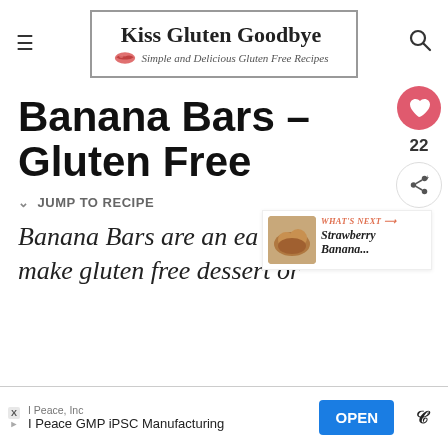Kiss Gluten Goodbye — Simple and Delicious Gluten Free Recipes
Banana Bars – Gluten Free
JUMP TO RECIPE
Banana Bars are an easy make gluten free dessert or
[Figure (screenshot): What's Next sidebar with image of strawberry banana item, text: WHAT'S NEXT → Strawberry Banana...]
WHAT'S NEXT → Strawberry Banana...
[Figure (infographic): Advertisement bar: I Peace, Inc — I Peace GMP iPSC Manufacturing — OPEN button]
I Peace, Inc
I Peace GMP iPSC Manufacturing